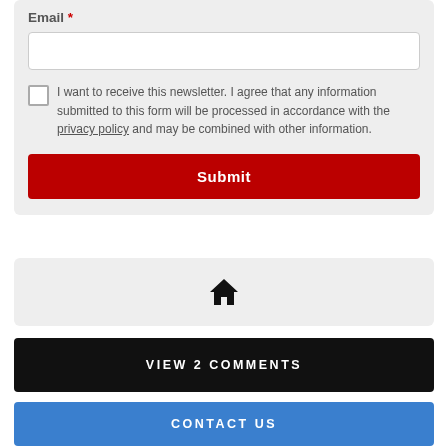Email *
I want to receive this newsletter. I agree that any information submitted to this form will be processed in accordance with the privacy policy and may be combined with other information.
Submit
[Figure (illustration): Home icon (house silhouette) centered in a light gray box]
VIEW 2 COMMENTS
CONTACT US